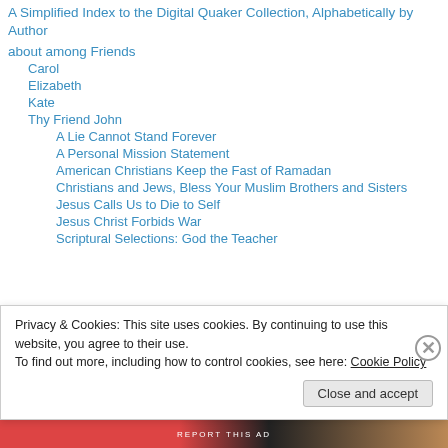A Simplified Index to the Digital Quaker Collection, Alphabetically by Author
about among Friends
Carol
Elizabeth
Kate
Thy Friend John
A Lie Cannot Stand Forever
A Personal Mission Statement
American Christians Keep the Fast of Ramadan
Christians and Jews, Bless Your Muslim Brothers and Sisters
Jesus Calls Us to Die to Self
Jesus Christ Forbids War
Scriptural Selections: God the Teacher
Privacy & Cookies: This site uses cookies. By continuing to use this website, you agree to their use.
To find out more, including how to control cookies, see here: Cookie Policy
Close and accept